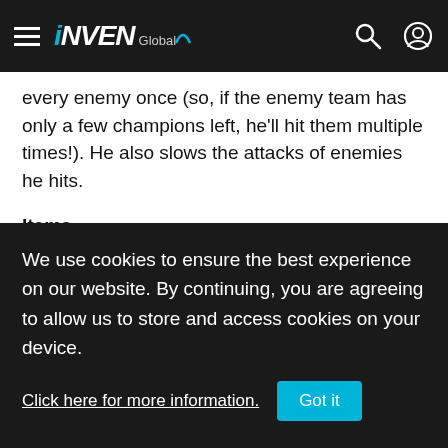INVEN Global
every enemy once (so, if the enemy team has only a few champions left, he'll hit them multiple times!). He also slows the attacks of enemies he hits.
Items
- Infinity Edge: Now sets the holder's critical strike chance to 100% (also does less bonus damage).
- Rapidfire Cannon: Now, in addition to the extra range, your attacks can't miss… again!
- Seraph's Embrace (Replaced by a Summoner's Rift classic: Blue
We use cookies to ensure the best experience on our website. By continuing, you are agreeing to allow us to store and access cookies on your device.
Click here for more information.
Got it